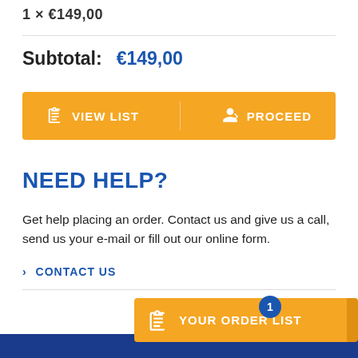1 × €149,00
Subtotal: €149,00
[Figure (screenshot): Yellow button bar with VIEW LIST (clipboard icon) on the left and PROCEED (person/arrow icon) on the right]
NEED HELP?
Get help placing an order. Contact us and give us a call, send us your e-mail or fill out our online form.
> CONTACT US
[Figure (screenshot): Floating yellow ORDER LIST button with clipboard icon and blue badge showing count 1]